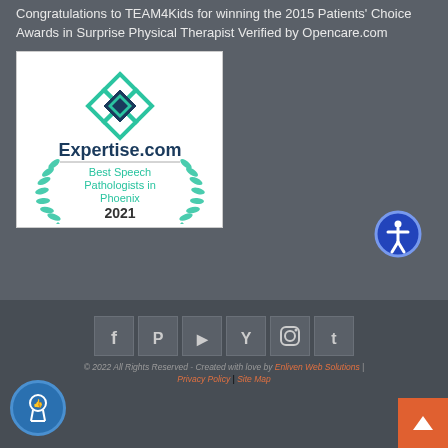Congratulations to TEAM4Kids for winning the 2015 Patients' Choice Awards in Surprise Physical Therapist Verified by Opencare.com
[Figure (logo): Expertise.com badge: Best Speech Pathologists in Phoenix 2021, with teal diamond logo and green laurel wreath]
[Figure (other): Accessibility button - blue circle with white accessibility icon]
[Figure (other): Social media icon bar: Facebook, Pinterest, YouTube, Yelp, Instagram, Tumblr]
© 2022 All Rights Reserved - Created with love by Enliven Web Solutions | Privacy Policy | Site Map